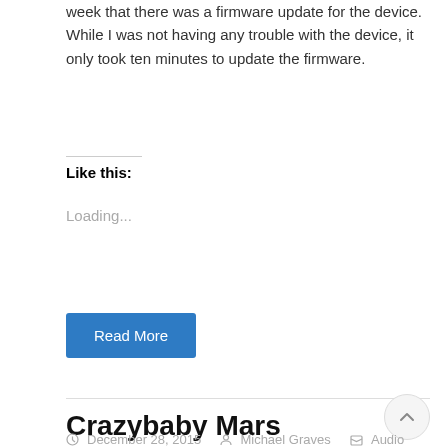week that there was a firmware update for the device. While I was not having any trouble with the device, it only took ten minutes to update the firmware.
Like this:
Loading...
Read More
Crazybaby Mars Levitation Bluetooth Speaker
December 28, 2015   Michael Graves   Audio